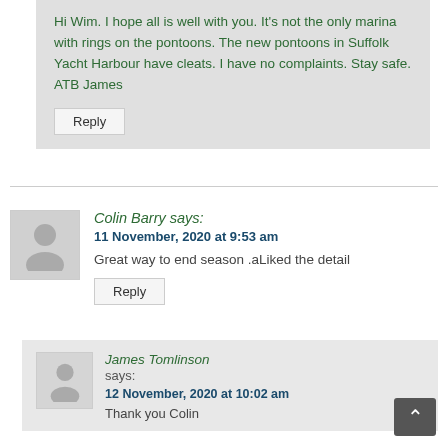Hi Wim. I hope all is well with you. It's not the only marina with rings on the pontoons. The new pontoons in Suffolk Yacht Harbour have cleats. I have no complaints. Stay safe. ATB James
Reply
Colin Barry says:
11 November, 2020 at 9:53 am
Great way to end season .aLiked the detail
Reply
James Tomlinson says:
12 November, 2020 at 10:02 am
Thank you Colin